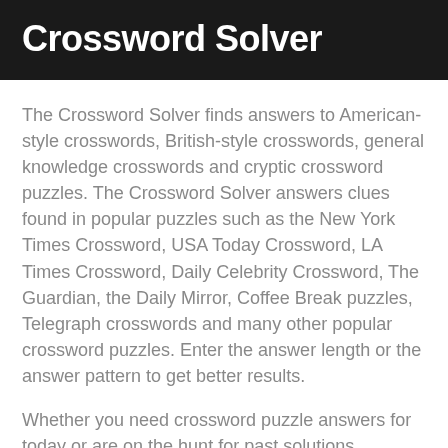Crossword Solver
The Crossword Solver finds answers to American-style crosswords, British-style crosswords, general knowledge crosswords and cryptic crossword puzzles. The Crossword Solver answers clues found in popular puzzles such as the New York Times Crossword, USA Today Crossword, LA Times Crossword, Daily Celebrity Crossword, The Guardian, the Daily Mirror, Coffee Break puzzles, Telegraph crosswords and many other popular crossword puzzles. Enter the answer length or the answer pattern to get better results.
Whether you need crossword puzzle answers for today or are on the hunt for past solutions, Crossword Solver helps you crack those tricky clues when you're stumped.